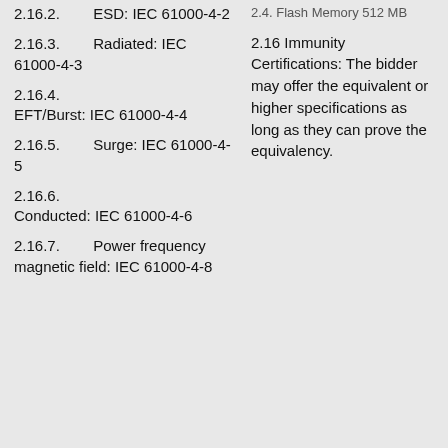2.16.2. ESD: IEC 61000-4-2
2.16.3. Radiated: IEC 61000-4-3
2.16.4. EFT/Burst: IEC 61000-4-4
2.16.5. Surge: IEC 61000-4-5
2.16.6. Conducted: IEC 61000-4-6
2.16.7. Power frequency magnetic field: IEC 61000-4-8
2.16 Immunity Certifications: The bidder may offer the equivalent or higher specifications as long as they can prove the equivalency.